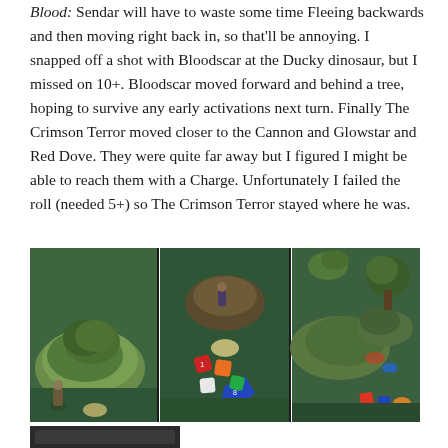Blood: Sendar will have to waste some time Fleeing backwards and then moving right back in, so that'll be annoying. I snapped off a shot with Bloodscar at the Ducky dinosaur, but I missed on 10+. Bloodscar moved forward and behind a tree, hoping to survive any early activations next turn. Finally The Crimson Terror moved closer to the Cannon and Glowstar and Red Dove. They were quite far away but I figured I might be able to reach them with a Charge. Unfortunately I failed the roll (needed 5+) so The Crimson Terror stayed where he was.
[Figure (photo): Three panel photograph showing a tabletop miniature wargame board with green felt terrain, miniature figures, hills, trees/moss terrain pieces, and colorful polyhedral dice (red, blue, orange, white, green) scattered on the playing surface.]